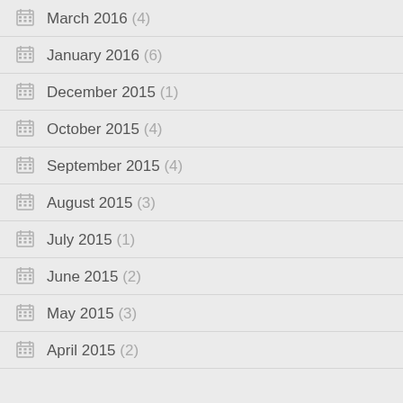March 2016 (4)
January 2016 (6)
December 2015 (1)
October 2015 (4)
September 2015 (4)
August 2015 (3)
July 2015 (1)
June 2015 (2)
May 2015 (3)
April 2015 (2)